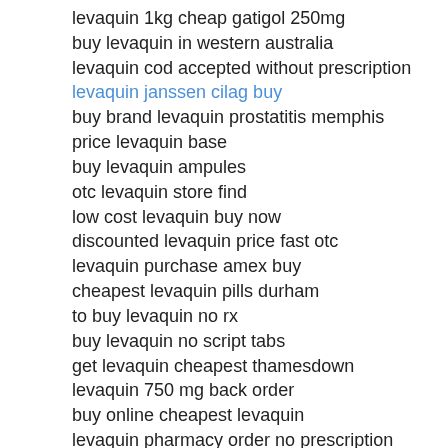levaquin 1kg cheap gatigol 250mg
buy levaquin in western australia
levaquin cod accepted without prescription
levaquin janssen cilag buy
buy brand levaquin prostatitis memphis
price levaquin base
buy levaquin ampules
otc levaquin store find
low cost levaquin buy now
discounted levaquin price fast otc
levaquin purchase amex buy
cheapest levaquin pills durham
to buy levaquin no rx
buy levaquin no script tabs
get levaquin cheapest thamesdown
levaquin 750 mg back order
buy online cheapest levaquin
levaquin pharmacy order no prescription
Trans-Fat Fast food restaurants consider a big help reducing or phasing out the use of trans-fatty acid vegetable oils. With each different infection an antibiotic is merely effective with certain specific types. In the next article I will discuss treating this condition.